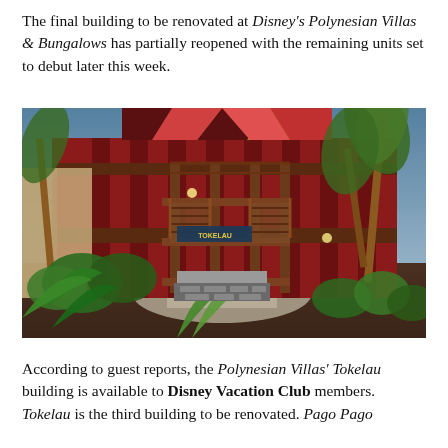The final building to be renovated at Disney's Polynesian Villas & Bungalows has partially reopened with the remaining units set to debut later this week.
[Figure (photo): Exterior photo of the Tokelau building at Disney's Polynesian Villas & Bungalows, showing a multi-story red and brown Polynesian-style building with wooden staircases and railings, tropical landscaping including palm trees and tropical plants in the foreground, and a 'Tokelau' sign above the entrance.]
According to guest reports, the Polynesian Villas' Tokelau building is available to Disney Vacation Club members. Tokelau is the third building to be renovated. Pago Pago